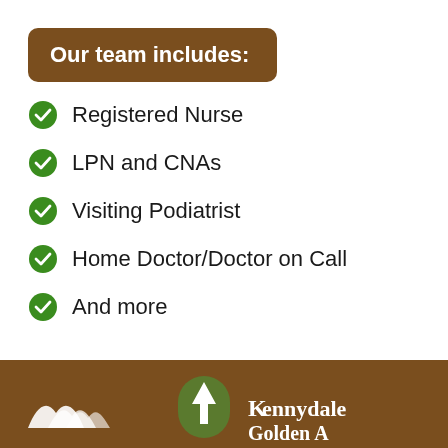Our team includes:
Registered Nurse
LPN and CNAs
Visiting Podiatrist
Home Doctor/Doctor on Call
And more
[Figure (logo): Kennydale Golden Age logo with mountain/heart icon and green arch with upward arrow, white text on brown footer bar]